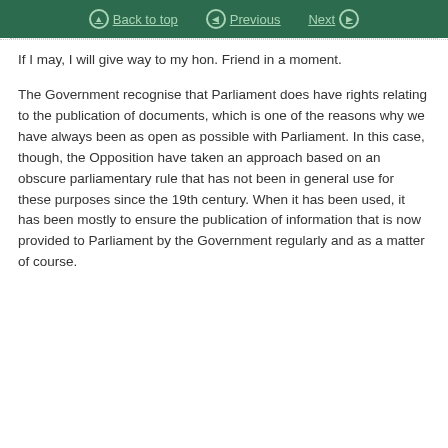Back to top  Previous  Next
If I may, I will give way to my hon. Friend in a moment.
The Government recognise that Parliament does have rights relating to the publication of documents, which is one of the reasons why we have always been as open as possible with Parliament. In this case, though, the Opposition have taken an approach based on an obscure parliamentary rule that has not been in general use for these purposes since the 19th century. When it has been used, it has been mostly to ensure the publication of information that is now provided to Parliament by the Government regularly and as a matter of course.